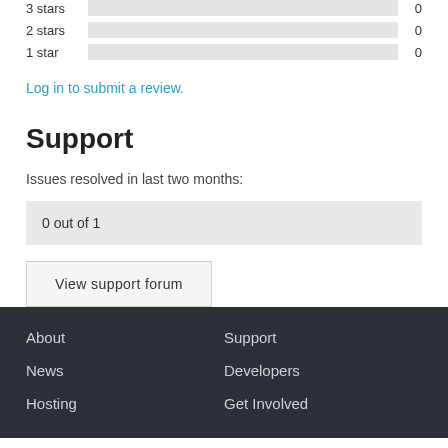3 stars  0
2 stars  0
1 star  0
Log in to submit a review.
Support
Issues resolved in last two months:
0 out of 1
View support forum
About  News  Hosting  Support  Developers  Get Involved